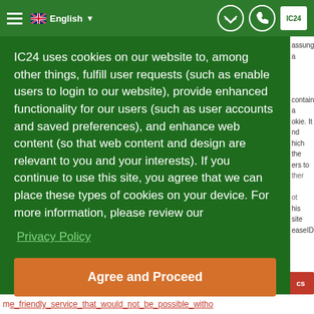English (language selector) with navigation icons
IC24 uses cookies on our website to, among other things, fulfill user requests (such as enable users to login to our website), provide enhanced functionality for our users (such as user accounts and saved preferences), and enhance web content (so that web content and design are relevant to you and your interests). If you continue to use this site, you agree that we can place these types of cookies on your device. For more information, please review our
Privacy Policy
Agree and Proceed